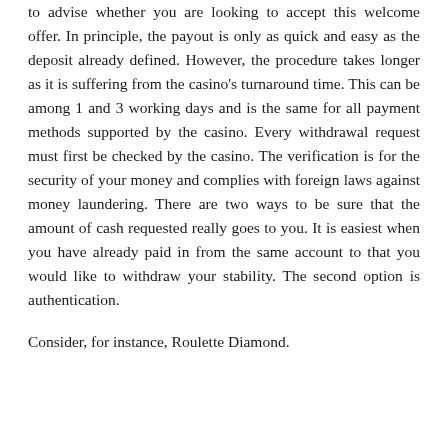to advise whether you are looking to accept this welcome offer. In principle, the payout is only as quick and easy as the deposit already defined. However, the procedure takes longer as it is suffering from the casino's turnaround time. This can be among 1 and 3 working days and is the same for all payment methods supported by the casino. Every withdrawal request must first be checked by the casino. The verification is for the security of your money and complies with foreign laws against money laundering. There are two ways to be sure that the amount of cash requested really goes to you. It is easiest when you have already paid in from the same account to that you would like to withdraw your stability. The second option is authentication.
Consider, for instance, Roulette Diamond.